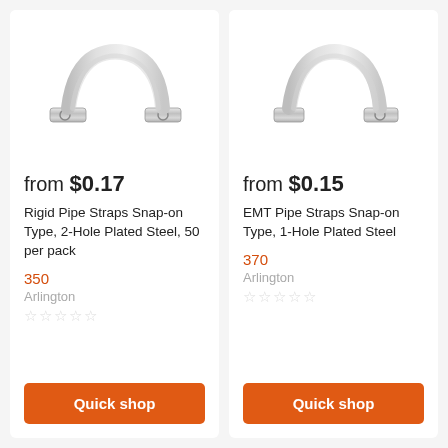[Figure (photo): Two-hole metal pipe strap clamp, snap-on type, plated steel, silver/chrome finish]
from $0.17
Rigid Pipe Straps Snap-on Type, 2-Hole Plated Steel, 50 per pack
350
Arlington
Quick shop
[Figure (photo): One-hole metal pipe strap clamp, snap-on type, plated steel, silver/chrome finish]
from $0.15
EMT Pipe Straps Snap-on Type, 1-Hole Plated Steel
370
Arlington
Quick shop